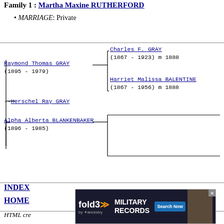Family 1: Martha Maxine RUTHERFORD
MARRIAGE: Private
[Figure (other): Genealogy tree diagram showing Raymond Thomas GRAY (1895-1979) connected to parents Charles F. GRAY (1867-1923) m 1888 and Harriet Malissa BALENTINE (1867-1956) m 1888; child Herschel Ray GRAY; spouse Alpha Alberta BLANKENBAKER (1896-1985)]
INDEX
HOME
HTML cre...on